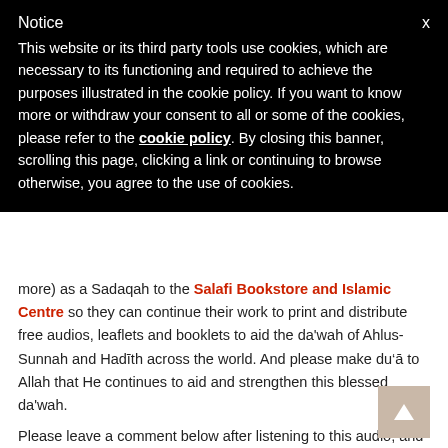Notice
This website or its third party tools use cookies, which are necessary to its functioning and required to achieve the purposes illustrated in the cookie policy. If you want to know more or withdraw your consent to all or some of the cookies, please refer to the cookie policy. By closing this banner, scrolling this page, clicking a link or continuing to browse otherwise, you agree to the use of cookies.
more) as a Sadaqah to the Salafi Bookstore and Islamic Centre so they can continue their work to print and distribute free audios, leaflets and booklets to aid the da'wah of Ahlus-Sunnah and Hadīth across the world. And please make du'ā to Allah that He continues to aid and strengthen this blessed da'wah.
Please leave a comment below after listening to this audio, and make sure to share. May Allah bless you.
Please share this audio: